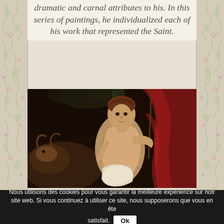dramatic and carnal attributes to his. In this series of paintings, he individualized each of his work that represented the Saint.
[Figure (photo): A Baroque oil painting depicting a young semi-nude male figure (Saint John the Baptist) with a ram/animal and red drapery, in the dramatic chiaroscuro style of Caravaggio]
Nous utilisons des cookies pour vous garantir la meilleure expérience sur notre site web. Si vous continuez à utiliser ce site, nous supposerons que vous en êtes satisfait. Ok